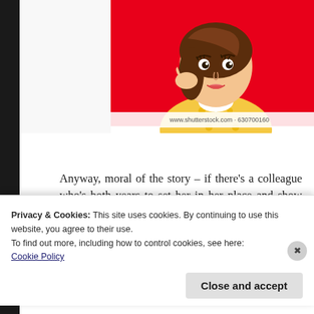[Figure (illustration): Pop art / comic style illustration of a woman with brown hair wearing a yellow polka-dot outfit against a red background. Shutterstock watermark visible: www.shutterstock.com · 630700160]
Anyway, moral of the story – if there's a colleague who's both years to set her in her place and show her that you want you to be strictly professional. And this, of course, does not only ap
Privacy & Cookies: This site uses cookies. By continuing to use this website, you agree to their use.
To find out more, including how to control cookies, see here: Cookie Policy
Close and accept